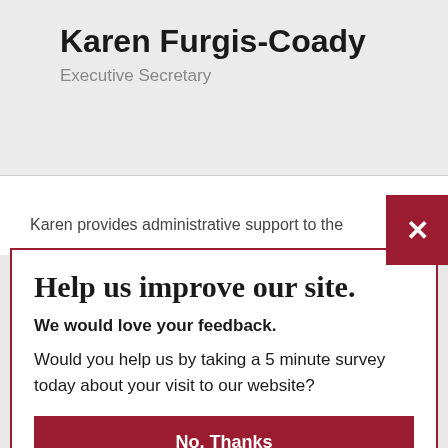Karen Furgis-Coady
Executive Secretary
Karen provides administrative support to the
Help us improve our site.
We would love your feedback.
Would you help us by taking a 5 minute survey today about your visit to our website?
No, Thanks
Yes, Take Survey